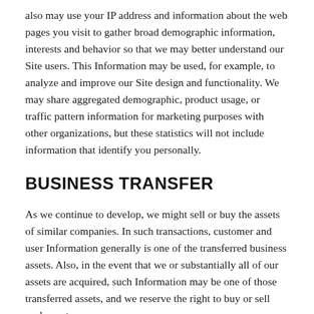also may use your IP address and information about the web pages you visit to gather broad demographic information, interests and behavior so that we may better understand our Site users. This Information may be used, for example, to analyze and improve our Site design and functionality. We may share aggregated demographic, product usage, or traffic pattern information for marketing purposes with other organizations, but these statistics will not include information that identify you personally.
BUSINESS TRANSFER
As we continue to develop, we might sell or buy the assets of similar companies. In such transactions, customer and user Information generally is one of the transferred business assets. Also, in the event that we or substantially all of our assets are acquired, such Information may be one of those transferred assets, and we reserve the right to buy or sell such assets.